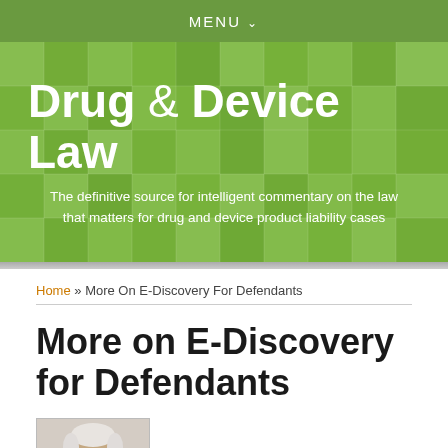MENU
[Figure (illustration): Drug & Device Law blog header banner with green mosaic tile background, site title 'Drug & Device Law' and subtitle 'The definitive source for intelligent commentary on the law that matters for drug and device product liability cases']
Home » More On E-Discovery For Defendants
More on E-Discovery for Defendants
[Figure (photo): Author headshot: older man with white hair and glasses, wearing dark clothing, against a light background]